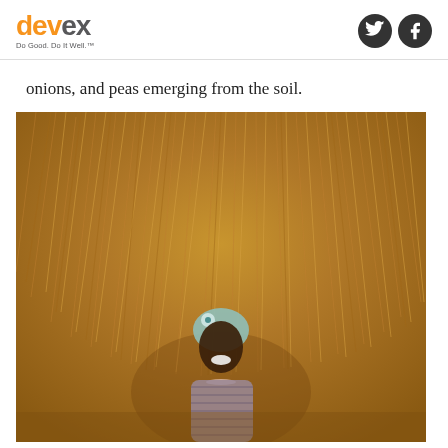devex Do Good. Do It Well.™
onions, and peas emerging from the soil.
[Figure (photo): A smiling African woman wearing a light blue head wrap and striped shirt, standing in front of a large pile of dried grass or straw, laughing and looking to the side.]